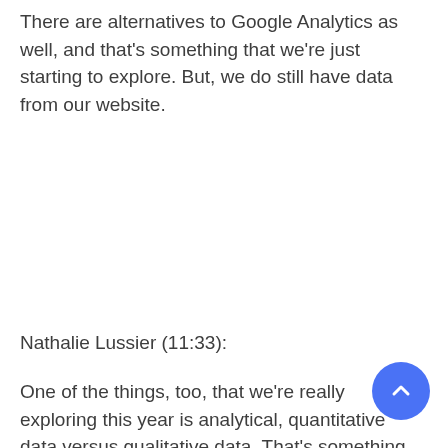There are alternatives to Google Analytics as well, and that's something that we're just starting to explore. But, we do still have data from our website.
Nathalie Lussier (11:33):
One of the things, too, that we're really exploring this year is analytical, quantitative data versus qualitative data. That's something that we're doing more with focus groups, that we're doing with user testing on our website, user testing with our software. That is when you're essentially asking people questions and then they're answering you, as opposed to just